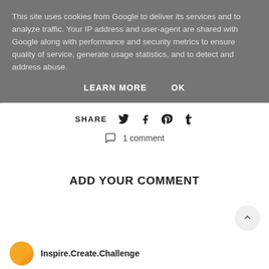This site uses cookies from Google to deliver its services and to analyze traffic. Your IP address and user-agent are shared with Google along with performance and security metrics to ensure quality of service, generate usage statistics, and to detect and address abuse.
LEARN MORE   OK
SHARE
1 comment
ADD YOUR COMMENT
Inspire.Create.Challenge